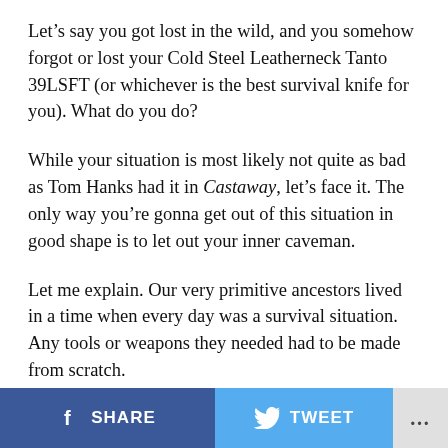Let's say you got lost in the wild, and you somehow forgot or lost your Cold Steel Leatherneck Tanto 39LSFT (or whichever is the best survival knife for you). What do you do?
While your situation is most likely not quite as bad as Tom Hanks had it in Castaway, let's face it. The only way you're gonna get out of this situation in good shape is to let out your inner caveman.
Let me explain. Our very primitive ancestors lived in a time when every day was a survival situation. Any tools or weapons they needed had to be made from scratch.
So, should you be unlucky enough to have only the shirt on your back while you're lost in the wilderness, you'll have to follow suit. Let the training of your inner
SHARE   TWEET   ...